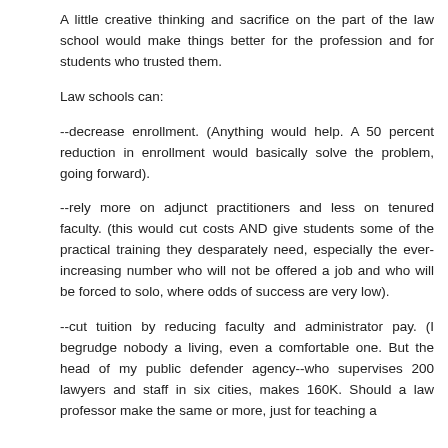A little creative thinking and sacrifice on the part of the law school would make things better for the profession and for students who trusted them.
Law schools can:
--decrease enrollment. (Anything would help. A 50 percent reduction in enrollment would basically solve the problem, going forward).
--rely more on adjunct practitioners and less on tenured faculty. (this would cut costs AND give students some of the practical training they desparately need, especially the ever-increasing number who will not be offered a job and who will be forced to solo, where odds of success are very low).
--cut tuition by reducing faculty and administrator pay. (I begrudge nobody a living, even a comfortable one. But the head of my public defender agency--who supervises 200 lawyers and staff in six cities, makes 160K. Should a law professor make the same or more, just for teaching a